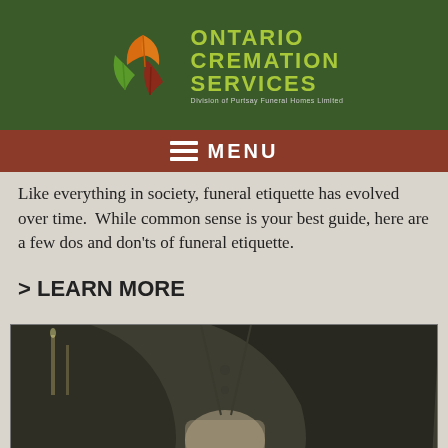[Figure (logo): Ontario Cremation Services logo with maple leaf graphics (orange, green, red leaves) on dark green background. Text reads ONTARIO CREMATION SERVICES, Division of Purtsay Funeral Homes Limited.]
≡ MENU
Like everything in society, funeral etiquette has evolved over time.  While common sense is your best guide, here are a few dos and don'ts of funeral etiquette.
> LEARN MORE
[Figure (photo): Photo of a person wearing a dark black suit jacket, hands clasped together, in a formal setting.]